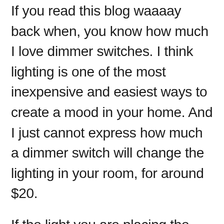If you read this blog waaaay back when, you know how much I love dimmer switches. I think lighting is one of the most inexpensive and easiest ways to create a mood in your home. And I just cannot express how much a dimmer switch will change the lighting in your room, for around $20.
If the light you are placing the dimmer on only has ONE switch that operates it, you'll need the single pole dimmer, like this one. This is GOOD because these are cheap -- less than $7 (edited to add